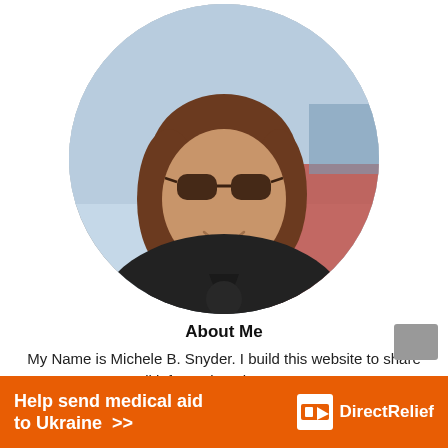[Figure (photo): Circular profile photo of a woman wearing sunglasses and a black top, smiling, with an urban background.]
About Me
My Name is Michele B. Snyder. I build this website to share all information about Cats.
[Figure (infographic): Orange advertisement banner: 'Help send medical aid to Ukraine >>' with Direct Relief logo on the right.]